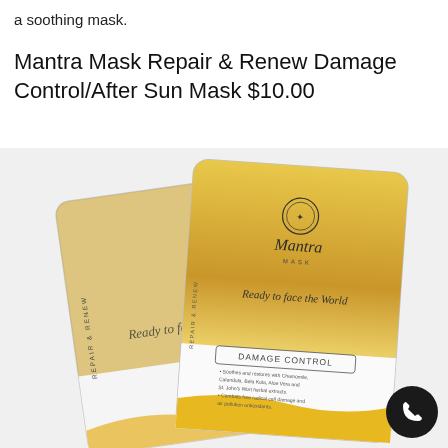a soothing mask.
Mantra Mask Repair & Renew Damage Control/After Sun Mask $10.00
[Figure (photo): Two sachets of Mantra Mask Repair & Renew Damage Control / After Sun Mask product, white and gold packaging with the Mantra Mask logo and script text 'Ready to face the World', with 'DAMAGE CONTROL' label and bullet point ingredient descriptions, and a gold wave design at the bottom.]